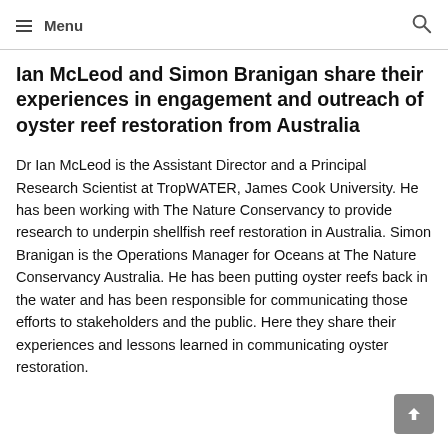Menu
Ian McLeod and Simon Branigan share their experiences in engagement and outreach of oyster reef restoration from Australia
Dr Ian McLeod is the Assistant Director and a Principal Research Scientist at TropWATER, James Cook University. He has been working with The Nature Conservancy to provide research to underpin shellfish reef restoration in Australia. Simon Branigan is the Operations Manager for Oceans at The Nature Conservancy Australia. He has been putting oyster reefs back in the water and has been responsible for communicating those efforts to stakeholders and the public. Here they share their experiences and lessons learned in communicating oyster restoration.